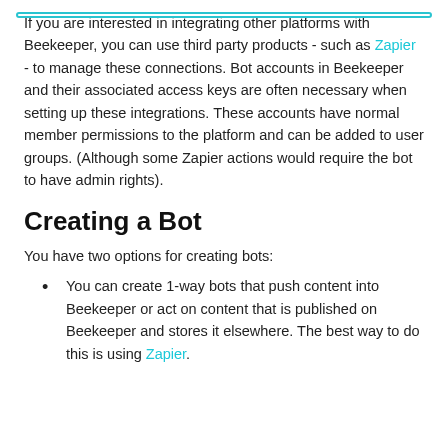If you are interested in integrating other platforms with Beekeeper, you can use third party products - such as Zapier - to manage these connections. Bot accounts in Beekeeper and their associated access keys are often necessary when setting up these integrations. These accounts have normal member permissions to the platform and can be added to user groups. (Although some Zapier actions would require the bot to have admin rights).
Creating a Bot
You have two options for creating bots:
You can create 1-way bots that push content into Beekeeper or act on content that is published on Beekeeper and stores it elsewhere. The best way to do this is using Zapier.